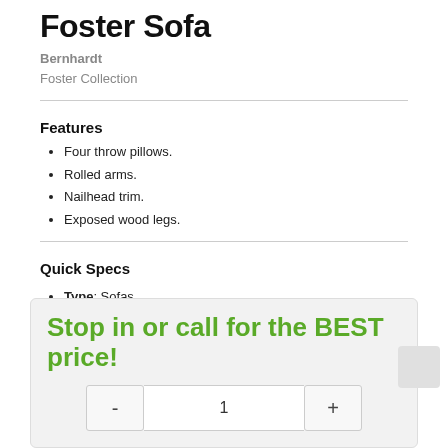Foster Sofa
Bernhardt
Foster Collection
Features
Four throw pillows.
Rolled arms.
Nailhead trim.
Exposed wood legs.
Quick Specs
Type: Sofas
See More
Stop in or call for the BEST price!
1